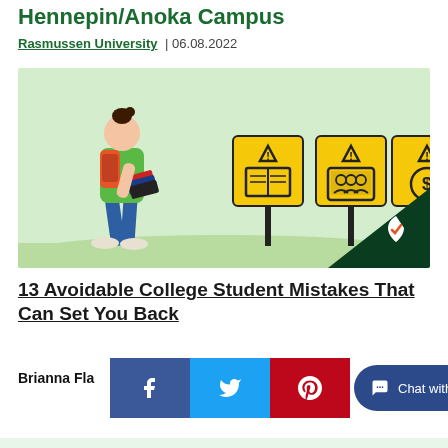Hennepin/Anoka Campus
Rasmussen University | 06.08.2022
[Figure (illustration): Illustration of a female student with backpack and books walking past three yellow warning signs with icons for academics, online learning/group, and money/dollar sign, with a dark green Rasmussen shield logo in the bottom right corner.]
13 Avoidable College Student Mistakes That Can Set You Back
Brianna Fla...
[Figure (infographic): Social sharing bar with Facebook (blue), Twitter (light blue), Pinterest (red) icons and a Chat with an Expert button in dark blue.]